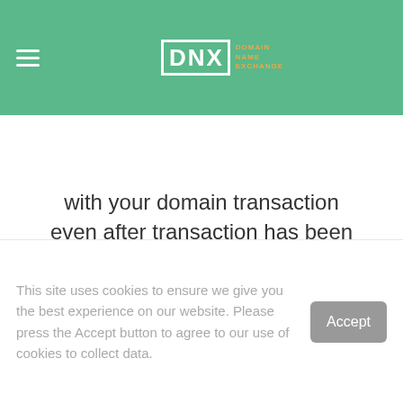DNX | DOMAIN NAME EXCHANGE
with your domain transaction even after transaction has been completed.
So what are
This site uses cookies to ensure we give you the best experience on our website. Please press the Accept button to agree to our use of cookies to collect data.